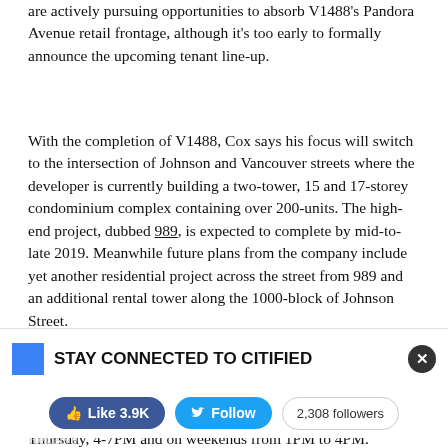are actively pursuing opportunities to absorb V1488's Pandora Avenue retail frontage, although it's too early to formally announce the upcoming tenant line-up.
With the completion of V1488, Cox says his focus will switch to the intersection of Johnson and Vancouver streets where the developer is currently building a two-tower, 15 and 17-storey condominium complex containing over 200-units. The high-end project, dubbed 989, is expected to complete by mid-to-late 2019. Meanwhile future plans from the company include yet another residential project across the street from 989 and an additional rental tower along the 1000-block of Johnson Street.
For individuals interested in learning more about V1488's rental opportunities and to schedule a walk-through, register on the company's website at V1488Victoria.com or call 250-477-1100. Open houses are scheduled Tuesday through Thursday, 4-7PM and on weekends from 1PM to 4PM.
STAY CONNECTED TO CITIFIED
Receive... Like 3.9K Follow 2,308 followers ...right to